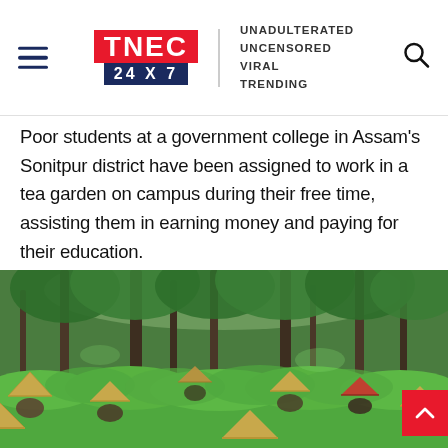TNEC 24X7 | UNADULTERATED UNCENSORED VIRAL TRENDING
Poor students at a government college in Assam's Sonitpur district have been assigned to work in a tea garden on campus during their free time, assisting them in earning money and paying for their education.
Spread over 33 acres of land at Karchantola in the Nanduar area near Jamugurihat town, Tyagbir Hem Baruah College is endowed with a tea garden, besides a fishery, banana groves, and lemon plants.
[Figure (photo): Tea garden with workers wearing conical hats picking tea leaves among tall trees in a lush green plantation]